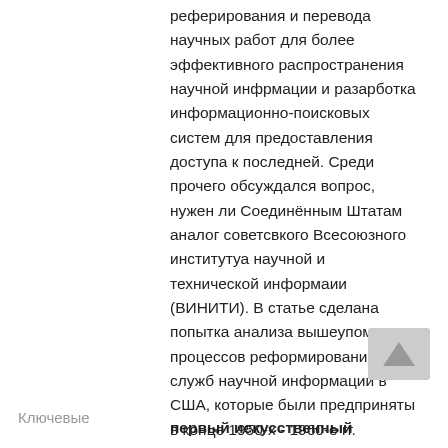реферирования и перевода научных работ для более эффективного распространения научной инфрмации и разарботка информационно-поисковых систем для предоставления доступа к последней. Среди прочего обсуждался вопрос, нужен ли Соединённым Штатам аналог советсвкого Всесоюзного институтуа научной и технической информаии (ВИНИТИ). В статье сделана попытка анализа вышеупомянутых процессов реформирования служб научной информации в США, которые были предприняты в конце 1950-х - 1960-е гг.
Ключевые
первый искусственный